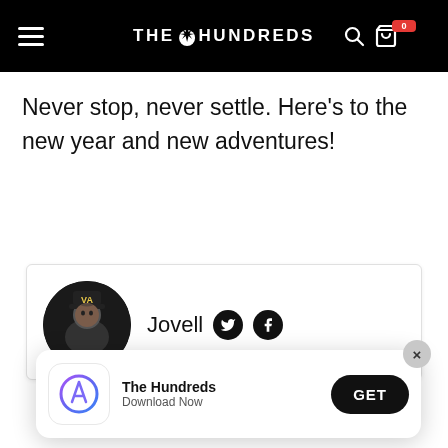THE HUNDREDS
Never stop, never settle. Here's to the new year and new adventures!
[Figure (other): Author card with circular avatar photo of Jovell wearing a cap, with Twitter and Facebook social icons next to the name 'Jovell']
[Figure (other): App download banner for 'The Hundreds' with App Store icon, text 'The Hundreds / Download Now', a GET button, and a close X button]
is–not how TV shows it. No Sarah